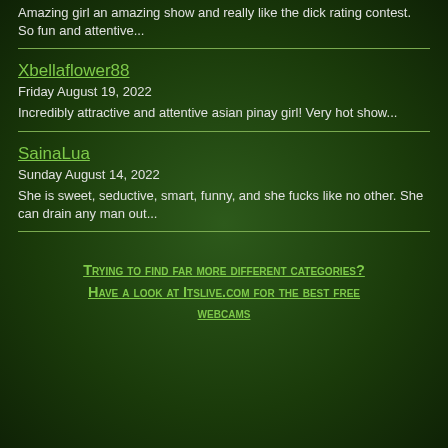Amazing girl an amazing show and really like the dick rating contest. So fun and attentive...
Xbellaflower88
Friday August 19, 2022
Incredibly attractive and attentive asian pinay girl! Very hot show...
SainaLua
Sunday August 14, 2022
She is sweet, seductive, smart, funny, and she fucks like no other. She can drain any man out...
Trying to find far more different categories? Have a look at Itslive.com for the best free webcams